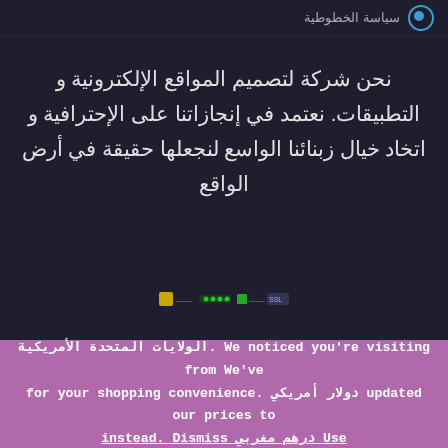سياسة الخصوصية
نحن شركة لتصميم المواقع الإلكترونية و التطبيقات. نعتمد في إنجازاتنا على الإحترافية و اتخاد خيال زبنائنا الواسع لنجعلها حقيقة في أرض الواقع
[Figure (other): Small icon badges row at bottom of dark section]
الولايات المتحدة الأمريكية. We noticed you're visiting from We've for your shopping convenience. دولار أمريكي updated our prices to instead. Dismiss درهم مغربي Use